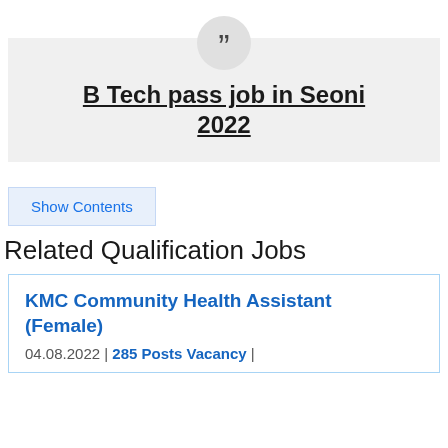B Tech pass job in Seoni 2022
Show Contents
Related Qualification Jobs
KMC Community Health Assistant (Female)
04.08.2022 | 285 Posts Vacancy |